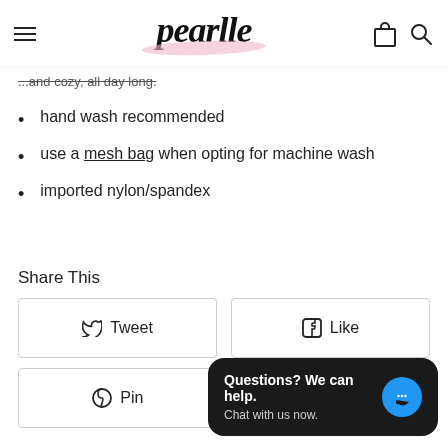pearlle
...and cozy, all day long.
hand wash recommended
use a mesh bag when opting for machine wash
imported nylon/spandex
Share This
Tweet
Like
Pin
Questions? We can help. Chat with us now.